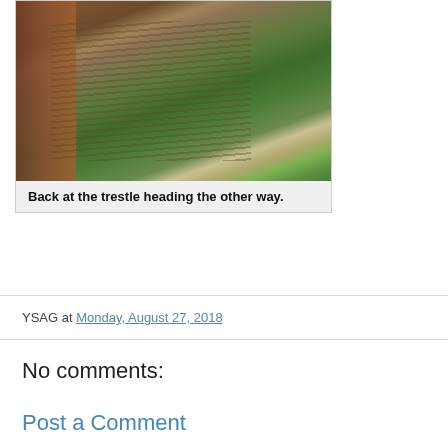[Figure (photo): Photo of a wooden trestle bridge/trail structure with railing on the left side, curving away into the distance with dense evergreen forest and hillside visible. The trestle has characteristic wooden lattice support structure beneath the walkway.]
Back at the trestle heading the other way.
YSAG at Monday, August 27, 2018
No comments:
Post a Comment